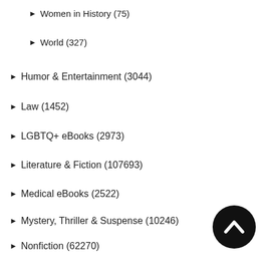Women in History (75)
World (327)
Humor & Entertainment (3044)
Law (1452)
LGBTQ+ eBooks (2973)
Literature & Fiction (107693)
Medical eBooks (2522)
Mystery, Thriller & Suspense (10246)
Nonfiction (62270)
Parenting & Relationships (874)
Politics & Social Sciences (11410)
Reference (14136)
Religion & Spirituality (14337)
[Figure (illustration): Black circular back-to-top button with upward chevron arrow]